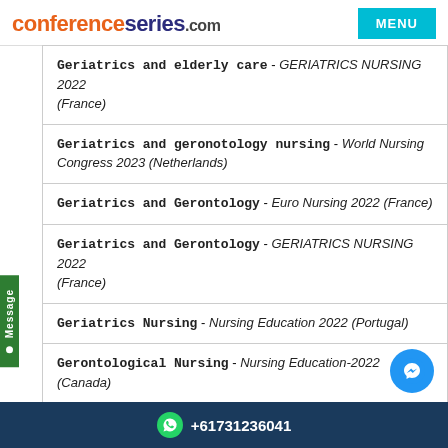conferenceseries.com
Geriatrics and elderly care - GERIATRICS NURSING 2022 (France)
Geriatrics and geronotology nursing - World Nursing Congress 2023 (Netherlands)
Geriatrics and Gerontology - Euro Nursing 2022 (France)
Geriatrics and Gerontology - GERIATRICS NURSING 2022 (France)
Geriatrics Nursing - Nursing Education 2022 (Portugal)
Gerontological Nursing - Nursing Education-2022 (Canada)
Gerontological Nursing - HOLISTIC NURSING 2022
+61731236041